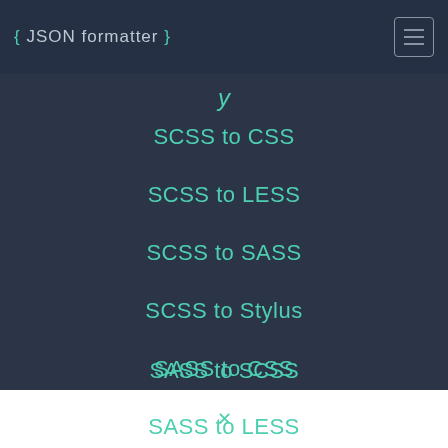{ JSON formatter }
SCSS to CSS
SCSS to LESS
SCSS to SASS
SCSS to Stylus
SASS to CSS
SASS to LESS
SASS to SCSS